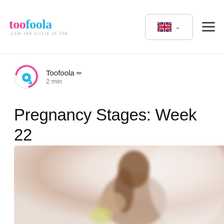toofoola.com the circle of life
Toofoola ✏ · 2 min
Pregnancy Stages: Week 22
[Figure (photo): A blurred photo of a pregnant woman, viewed from the side, with soft white background. She has long hair and appears to be holding something light-colored.]